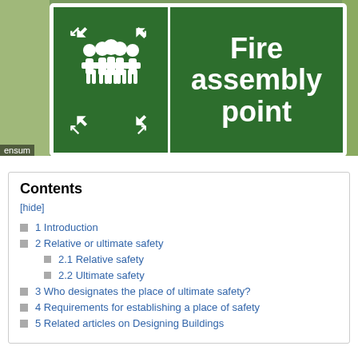[Figure (photo): Photograph of a green fire assembly point sign with white text and people icon, set against a background of trees and foliage.]
Contents
[hide]
1 Introduction
2 Relative or ultimate safety
2.1 Relative safety
2.2 Ultimate safety
3 Who designates the place of ultimate safety?
4 Requirements for establishing a place of safety
5 Related articles on Designing Buildings